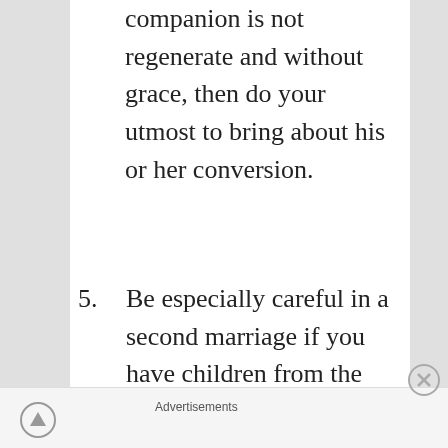companion is not regenerate and without grace, then do your utmost to bring about his or her conversion.
5. Be especially careful in a second marriage if you have children from the first. Since the love of stepfathers or stepmothers is not as great as that of natural parents, the upbringing will not be as painstaking, tender, Christian, and
Advertisements